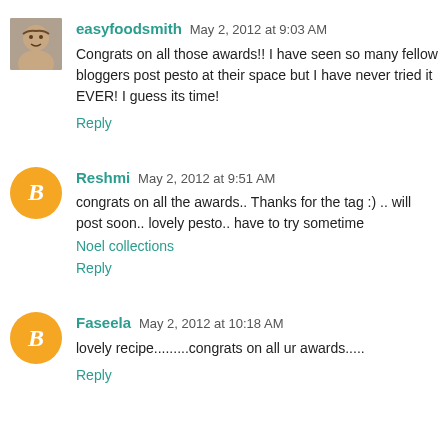easyfoodsmith May 2, 2012 at 9:03 AM
Congrats on all those awards!! I have seen so many fellow bloggers post pesto at their space but I have never tried it EVER! I guess its time!
Reply
Reshmi May 2, 2012 at 9:51 AM
congrats on all the awards.. Thanks for the tag :) .. will post soon.. lovely pesto.. have to try sometime
Noel collections
Reply
Faseela May 2, 2012 at 10:18 AM
lovely recipe.........congrats on all ur awards.....
Reply